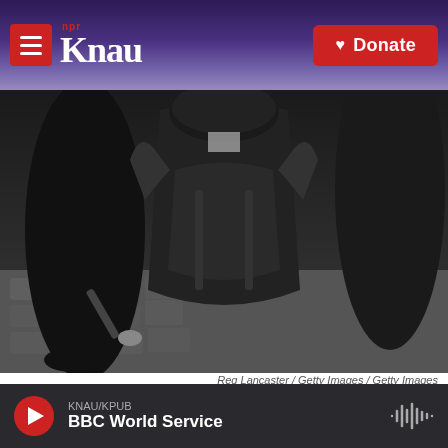KNAU NPR / Donate
[Figure (photo): Black and white photo of students and police facing each other in a Paris street during the student riots, viewed from above/behind showing police officer in riot gear with helmet and baton.]
Reg Lancaster / Getty Images / Getty Images
Students and police facing each other in a Paris street during the student riots.
KNAU/KPUB BBC World Service